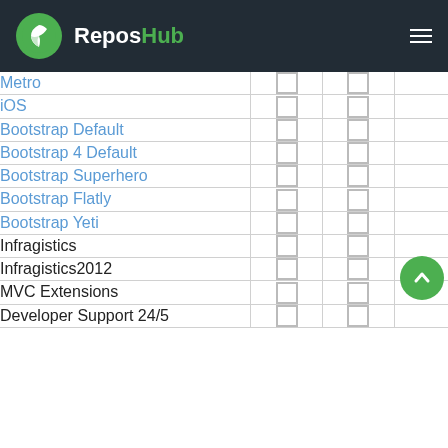ReposHub
|  |  |  |  |
| --- | --- | --- | --- |
| Metro | ☐ | ☐ |  |
| iOS | ☐ | ☐ |  |
| Bootstrap Default | ☐ | ☐ |  |
| Bootstrap 4 Default | ☐ | ☐ |  |
| Bootstrap Superhero | ☐ | ☐ |  |
| Bootstrap Flatly | ☐ | ☐ |  |
| Bootstrap Yeti | ☐ | ☐ |  |
| Infragistics | ☐ | ☐ |  |
| Infragistics2012 | ☐ | ☐ |  |
| MVC Extensions | ☐ | ☐ |  |
| Developer Support 24/5 | ☐ | ☐ |  |